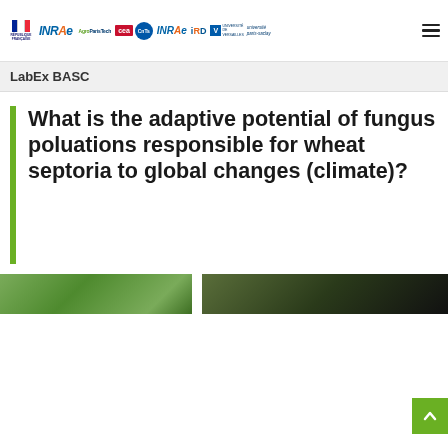République Française | INRAE | AgroParisTech | CEA | CNTS | INRAE | IRD | Université de Versailles | université Paris-Saclay
LabEx BASC
What is the adaptive potential of fungus poluations responsible for wheat septoria to global changes (climate)?
[Figure (photo): Two side-by-side nature/agricultural photos partially visible at bottom of page]